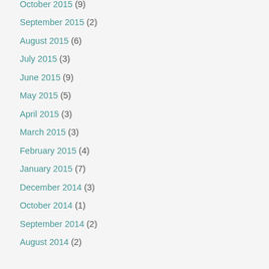October 2015 (9)
September 2015 (2)
August 2015 (6)
July 2015 (3)
June 2015 (9)
May 2015 (5)
April 2015 (3)
March 2015 (3)
February 2015 (4)
January 2015 (7)
December 2014 (3)
October 2014 (1)
September 2014 (2)
August 2014 (2)